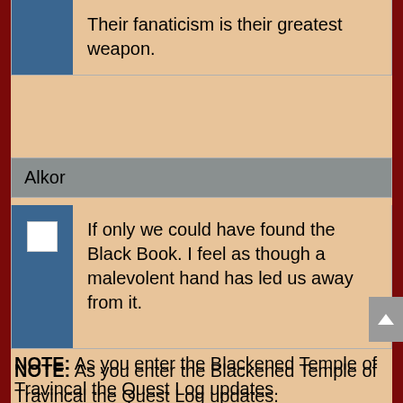Their fanaticism is their greatest weapon.
Alkor
If only we could have found the Black Book. I feel as though a malevolent hand has led us away from it.
NOTE: As you enter the Blackened Temple of Travincal the Quest Log updates.
Kill the High Council.